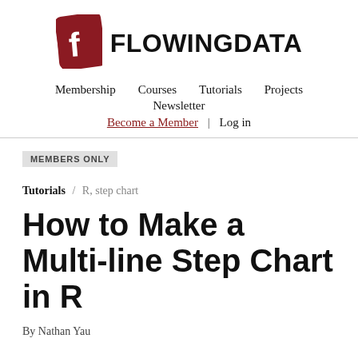[Figure (logo): FlowingData logo: red rounded-rectangle card with white stylized 'f' letter, followed by bold text FLOWINGDATA]
Membership   Courses   Tutorials   Projects
Newsletter
Become a Member | Log in
MEMBERS ONLY
Tutorials / R, step chart
How to Make a Multi-line Step Chart in R
By Nathan Yau